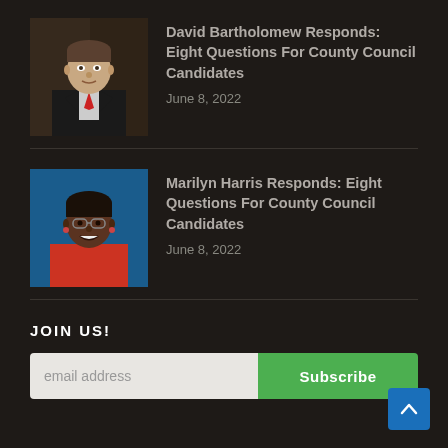[Figure (photo): Headshot of David Bartholomew, a man in a dark suit with a red tie, against a dark background]
David Bartholomew Responds: Eight Questions For County Council Candidates
June 8, 2022
[Figure (photo): Headshot of Marilyn Harris, a woman with short dark hair and glasses, wearing a red jacket, against a blue background]
Marilyn Harris Responds: Eight Questions For County Council Candidates
June 8, 2022
JOIN US!
email address
Subscribe